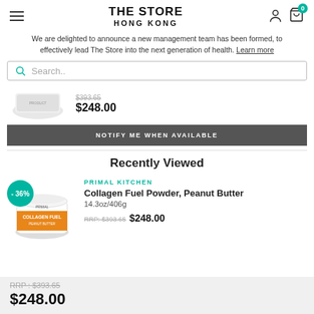THE STORE HONG KONG
We are delighted to announce a new management team has been formed, to effectively lead The Store into the next generation of health. Learn more
Search..
[Figure (photo): Product jar image (partially visible at top)]
NOTIFY ME WHEN AVAILABLE
Recently Viewed
[Figure (photo): Primal Kitchen Collagen Fuel Powder peanut butter jar with -36% discount badge]
PRIMAL KITCHEN
Collagen Fuel Powder, Peanut Butter
14.3oz/406g
RRP: $393.65  $248.00
RRP : $393.65
$248.00